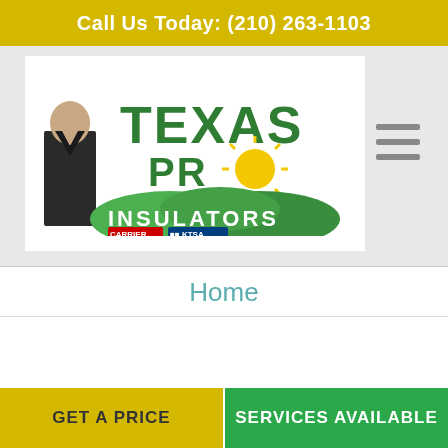Call Us Today: (210) 263-1103
[Figure (logo): Texas Pro Insulators logo with green text, yellow sun, green hills, and a man in a suit. Includes Carrier and KTSA badge logos at the bottom.]
Home
GET A PRICE
SERVICES AVAILABLE